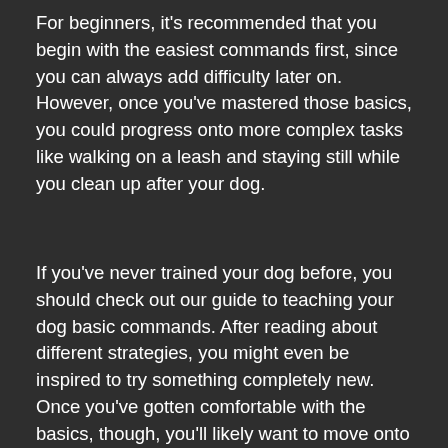For beginners, it's recommended that you begin with the easiest commands first, since you can always add difficulty later on. However, once you've mastered those basics, you could progress onto more complex tasks like walking on a leash and staying still while you clean up after your dog.
If you've never trained your dog before, you should check out our guide to teaching your dog basic commands. After reading about different strategies, you might even be inspired to try something completely new. Once you've gotten comfortable with the basics, though, you'll likely want to move onto more advanced tactics. With